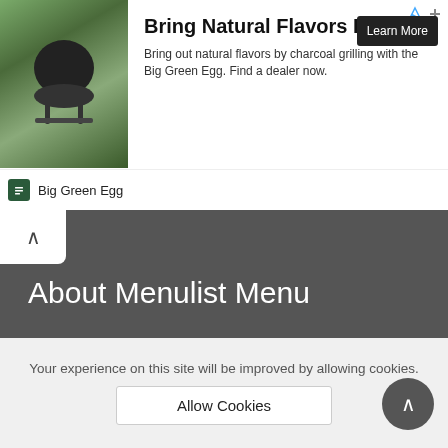[Figure (screenshot): Advertisement banner for Big Green Egg charcoal grill with outdoor grill image on left, headline 'Bring Natural Flavors Home', body text, and Learn More button]
About Menulist Menu
Menulist is the popular platform for Restaurants and their menus. Clean and comprehensive.
Imprint   About us
Your experience on this site will be improved by allowing cookies.
Allow Cookies